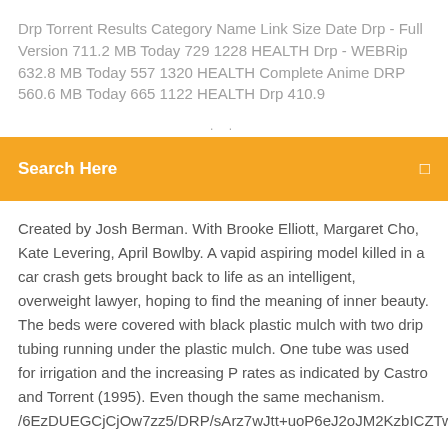Drp Torrent Results Category Name Link Size Date Drp - Full Version 711.2 MB Today 729 1228 HEALTH Drp - WEBRip 632.8 MB Today 557 1320 HEALTH Complete Anime DRP 560.6 MB Today 665 1122 HEALTH Drp 410.9
Search Here
Created by Josh Berman. With Brooke Elliott, Margaret Cho, Kate Levering, April Bowlby. A vapid aspiring model killed in a car crash gets brought back to life as an intelligent, overweight lawyer, hoping to find the meaning of inner beauty. The beds were covered with black plastic mulch with two drip tubing running under the plastic mulch. One tube was used for irrigation and the increasing P rates as indicated by Castro and Torrent (1995). Even though the same mechanism. /6EzDUEGCjCjOw7zz5/DRP/sArz7wJtt+uoP6eJ2oJM2KzbICZTww+